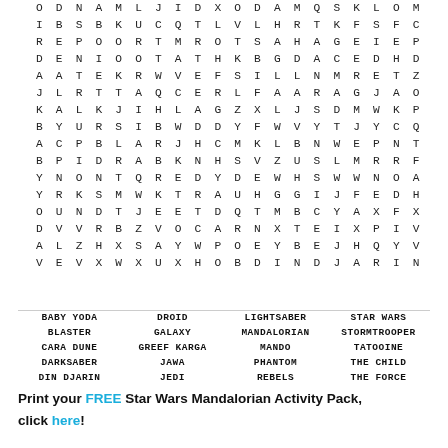[Figure (other): Word search puzzle grid with letters arranged in rows and columns]
BABY YODA | DROID | LIGHTSABER | STAR WARS
BLASTER | GALAXY | MANDALORIAN | STORMTROOPER
CARA DUNE | GREEF KARGA | MANDO | TATOOINE
DARKSABER | JAWA | PHANTOM | THE CHILD
DIN DJARIN | JEDI | REBELS | THE FORCE
Print your FREE Star Wars Mandalorian Activity Pack, click here!